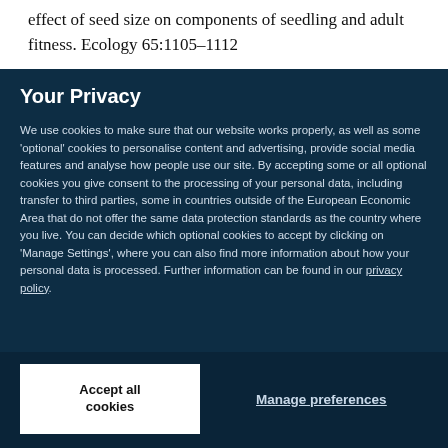effect of seed size on components of seedling and adult fitness. Ecology 65:1105–1112
Your Privacy
We use cookies to make sure that our website works properly, as well as some 'optional' cookies to personalise content and advertising, provide social media features and analyse how people use our site. By accepting some or all optional cookies you give consent to the processing of your personal data, including transfer to third parties, some in countries outside of the European Economic Area that do not offer the same data protection standards as the country where you live. You can decide which optional cookies to accept by clicking on 'Manage Settings', where you can also find more information about how your personal data is processed. Further information can be found in our privacy policy.
Accept all cookies
Manage preferences